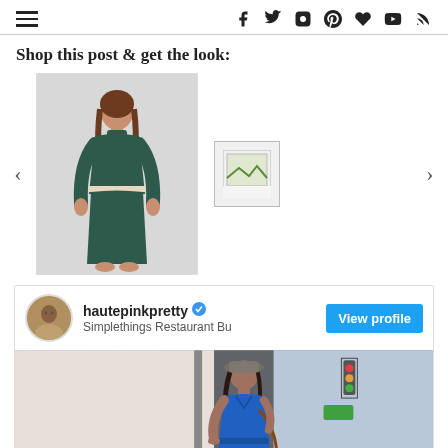Navigation header with hamburger menu and social icons: facebook, twitter, instagram, pinterest, heart, youtube, rss
Shop this post & get the look:
[Figure (photo): Product photo of a dark green turtleneck crop top and matching skirt set worn by a female model, shown in a white background product shot. Adjacent placeholder image icon.]
[Figure (screenshot): Instagram profile panel for hautepinkpretty with verified badge, location Simplethings Restaurant Bu, View profile blue button, and photo of a woman in a blue denim dress and hat standing outside.]